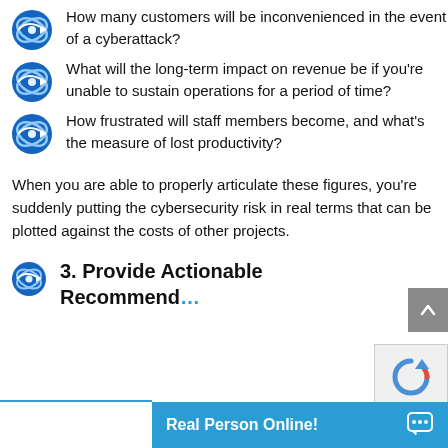How many customers will be inconvenienced in the event of a cyberattack?
What will the long-term impact on revenue be if you’re unable to sustain operations for a period of time?
How frustrated will staff members become, and what’s the measure of lost productivity?
When you are able to properly articulate these figures, you’re suddenly putting the cybersecurity risk in real terms that can be plotted against the costs of other projects.
3. Provide Actionable Recommend…